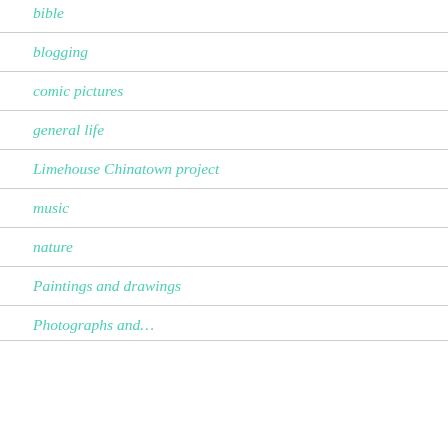bible
blogging
comic pictures
general life
Limehouse Chinatown project
music
nature
Paintings and drawings
Photographs and…